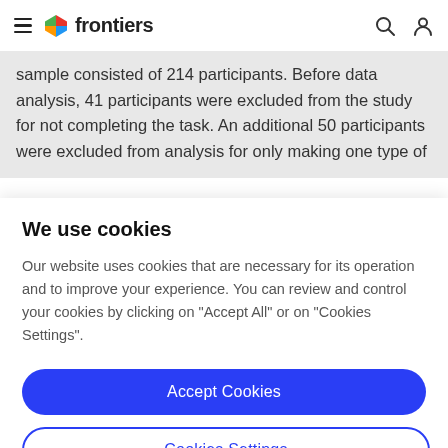frontiers
sample consisted of 214 participants. Before data analysis, 41 participants were excluded from the study for not completing the task. An additional 50 participants were excluded from analysis for only making one type of
We use cookies
Our website uses cookies that are necessary for its operation and to improve your experience. You can review and control your cookies by clicking on "Accept All" or on "Cookies Settings".
Accept Cookies
Cookies Settings